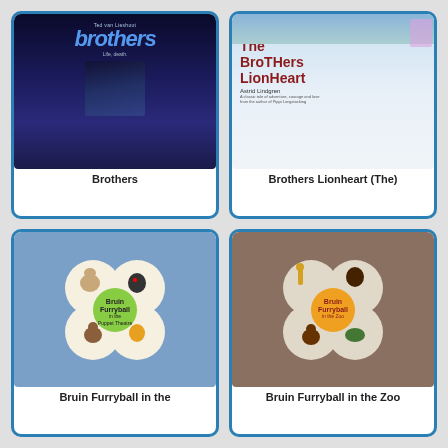[Figure (photo): Book cover of 'Brothers' by Ted van Lieshout — dark blue cover with stylized text]
Brothers
[Figure (photo): Book cover of 'The Brothers Lionheart' by Astrid Lindgren — illustrated cover with children and snowy mountain]
Brothers Lionheart (The)
[Figure (photo): Book cover of 'Bruin Furryball in the Puppet Theatre' — illustrated cover with bear and puppet animals in four-leaf clover design]
Bruin Furryball in the
[Figure (photo): Book cover of 'Bruin Furryball in the Zoo' — illustrated cover with zoo animals in four-leaf clover design on brown background]
Bruin Furryball in the Zoo